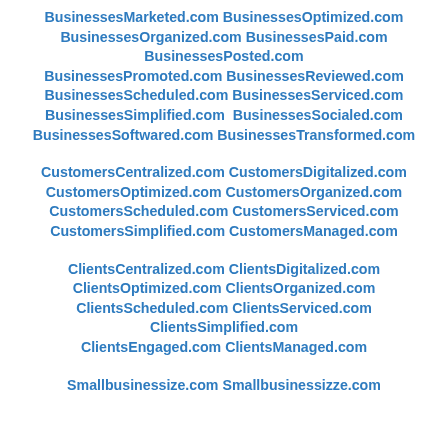BusinessesMarketed.com BusinessesOptimized.com BusinessesOrganized.com BusinessesPaid.com BusinessesPosted.com BusinessesPromoted.com BusinessesReviewed.com BusinessesScheduled.com BusinessesServiced.com BusinessesSimplified.com BusinessesSocialed.com BusinessesSoftwared.com BusinessesTransformed.com
CustomersCentralized.com CustomersDigitalized.com CustomersOptimized.com CustomersOrganized.com CustomersScheduled.com CustomersServiced.com CustomersSimplified.com CustomersManaged.com
ClientsCentralized.com ClientsDigitalized.com ClientsOptimized.com ClientsOrganized.com ClientsScheduled.com ClientsServiced.com ClientsSimplified.com ClientsEngaged.com ClientsManaged.com
Smallbusinessize.com Smallbusinessizze.com